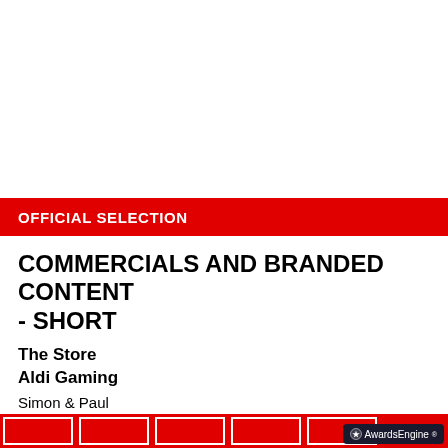OFFICIAL SELECTION
COMMERCIALS AND BRANDED CONTENT - SHORT
The Store
Aldi Gaming
Simon & Paul
Directors Duo